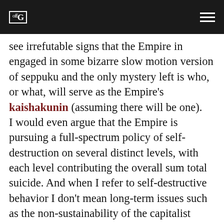offG [logo] [hamburger menu]
see irrefutable signs that the Empire in engaged in some bizarre slow motion version of seppuku and the only mystery left is who, or what, will serve as the Empire's kaishakunin (assuming there will be one).
I would even argue that the Empire is pursuing a full-spectrum policy of self-destruction on several distinct levels, with each level contributing the overall sum total suicide. And when I refer to self-destructive behavior I don't mean long-term issues such as the non-sustainability of the capitalist economic model